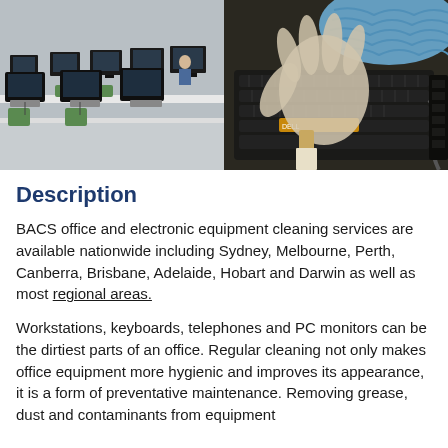[Figure (photo): Left: A computer lab with rows of desktop monitors on white desks and green chairs, with a person in the background cleaning. Right: Close-up of gloved hands cleaning a computer keyboard with a blue cloth and a brush.]
Description
BACS office and electronic equipment cleaning services are available nationwide including Sydney, Melbourne, Perth, Canberra, Brisbane, Adelaide, Hobart and Darwin as well as most regional areas.
Workstations, keyboards, telephones and PC monitors can be the dirtiest parts of an office. Regular cleaning not only makes office equipment more hygienic and improves its appearance, it is a form of preventative maintenance. Removing grease, dust and contaminants from equipment will increase reliability, resulting in fewer service calls and...